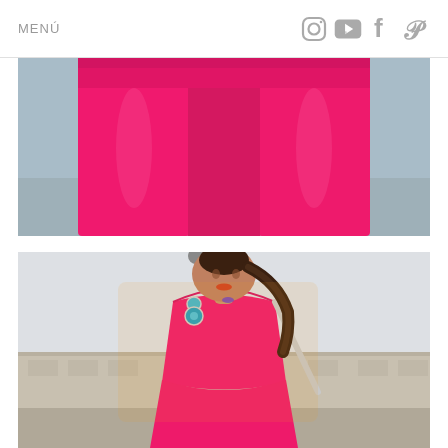MENÚ [social icons: Instagram, YouTube, Facebook, Pinterest]
[Figure (photo): Close-up of a woman wearing a bright hot pink jumpsuit or wide-leg trousers, shot from the waist down. A small bag is visible at the right side. Background is a light grey/blue sky and ground.]
[Figure (photo): A young woman wearing a strapless bright hot pink jumpsuit with a silver crossbody bag strap. She has a braided ponytail hairdo and large turquoise drop earrings. She is looking to the side. Background shows a street scene at golden hour with buildings and a lamp post.]